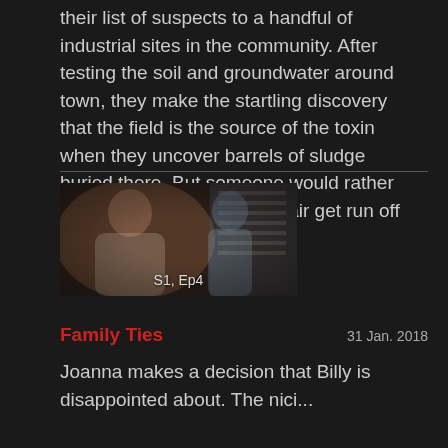their list of suspects to a handful of industrial sites in the community. After testing the soil and groundwater around town, they make the startling discovery that the field is the source of the toxin when they uncover barrels of sludge buried there. But someone would rather they stop digging and the pair get run off the road.
[Figure (photo): TV show still image showing a woman in foreground with a man in background, labeled S1, Ep4]
Family Ties
31 Jan. 2018
Joanna makes a decision that Billy is disappointed about. Thenici...